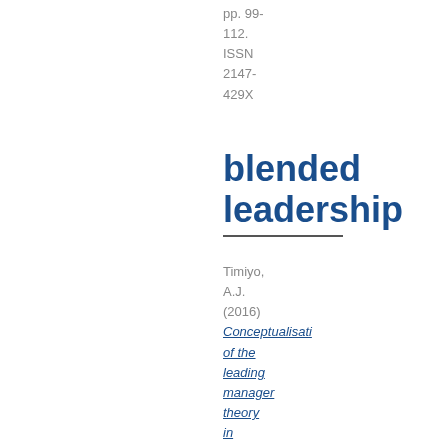pp. 99-112. ISSN 2147-429X
blended leadership
Timiyo, A.J. (2016) Conceptualisation of the leading manager theory in higher education institutions: